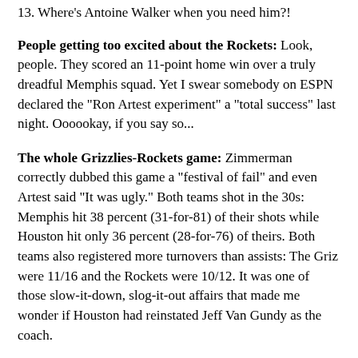13. Where's Antoine Walker when you need him?!
People getting too excited about the Rockets: Look, people. They scored an 11-point home win over a truly dreadful Memphis squad. Yet I swear somebody on ESPN declared the "Ron Artest experiment" a "total success" last night. Oooookay, if you say so...
The whole Grizzlies-Rockets game: Zimmerman correctly dubbed this game a "festival of fail" and even Artest said "It was ugly." Both teams shot in the 30s: Memphis hit 38 percent (31-for-81) of their shots while Houston hit only 36 percent (28-for-76) of theirs. Both teams also registered more turnovers than assists: The Griz were 11/16 and the Rockets were 10/12. It was one of those slow-it-down, slog-it-out affairs that made me wonder if Houston had reinstated Jeff Van Gundy as the coach.
The Denver Nuggets: The Jazz were forced to start Ronnie Price in place of the injured Deron Williams, and Price spit in Jerry Sloan's face by shooting 1-for-9. Note also that the Jazz had only 4 assists in the first quarter, and none of them